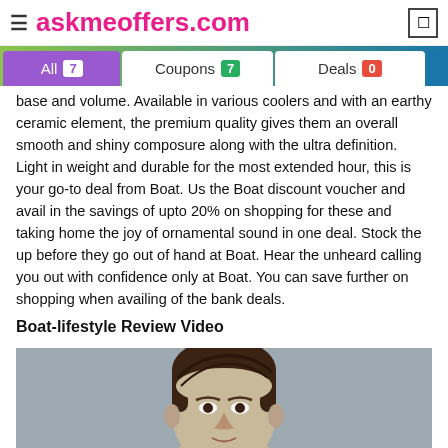≡ askmeoffers.com
base and volume. Available in various coolers and with an earthy ceramic element, the premium quality gives them an overall smooth and shiny composure along with the ultra definition. Light in weight and durable for the most extended hour, this is your go-to deal from Boat. Us the Boat discount voucher and avail in the savings of upto 20% on shopping for these and taking home the joy of ornamental sound in one deal. Stock the up before they go out of hand at Boat. Hear the unheard calling you out with confidence only at Boat. You can save further on shopping when availing of the bank deals.
Boat-lifestyle Review Video
[Figure (photo): Screenshot of a video review thumbnail showing a man's head and shoulders against a grey background]